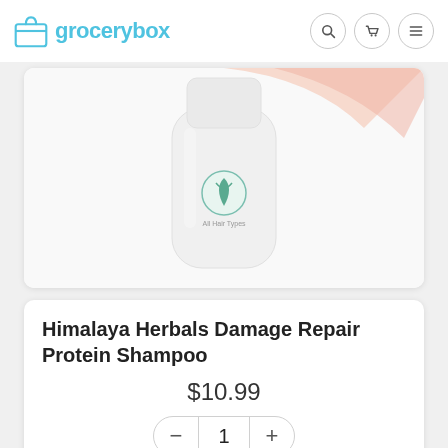grocerybox
[Figure (photo): Himalaya Herbals Damage Repair Protein Shampoo bottle, white with teal/green leaf logo, partially cropped at top]
Himalaya Herbals Damage Repair Protein Shampoo
$10.99
1
Add to Cart